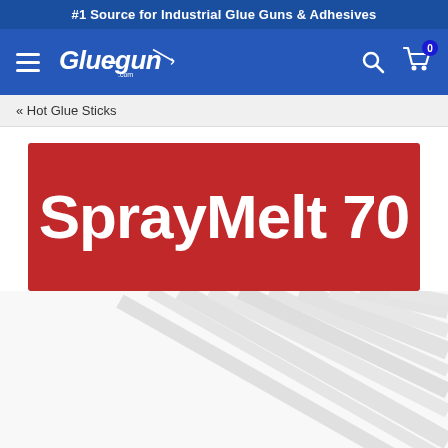#1 Source for Industrial Glue Guns & Adhesives
[Figure (logo): Glue-gun.com logo with navigation bar including hamburger menu, search icon, and cart icon with 0 items]
« Hot Glue Sticks
[Figure (illustration): SprayMelt 70 product image: red banner with white bold text 'SprayMelt 70' above a photo of clear/white hot glue sticks with diagonal striped pattern]